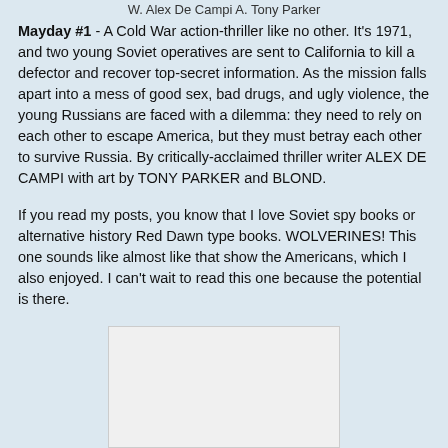W. Alex De Campi A. Tony Parker
Mayday #1 - A Cold War action-thriller like no other. It's 1971, and two young Soviet operatives are sent to California to kill a defector and recover top-secret information. As the mission falls apart into a mess of good sex, bad drugs, and ugly violence, the young Russians are faced with a dilemma: they need to rely on each other to escape America, but they must betray each other to survive Russia. By critically-acclaimed thriller writer ALEX DE CAMPI with art by TONY PARKER and BLOND.
If you read my posts, you know that I love Soviet spy books or alternative history Red Dawn type books. WOLVERINES! This one sounds like almost like that show the Americans, which I also enjoyed. I can't wait to read this one because the potential is there.
[Figure (photo): White/light gray rectangular image placeholder at the bottom center of the page]